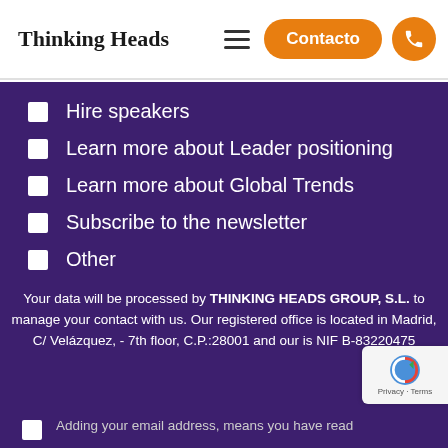Thinking Heads
Hire speakers
Learn more about Leader positioning
Learn more about Global Trends
Subscribe to the newsletter
Other
Your data will be processed by THINKING HEADS GROUP, S.L. to manage your contact with us. Our registered office is located in Madrid, C/ Velázquez, - 7th floor, C.P.:28001 and our is NIF B-83220475
Adding your email address, means you have read